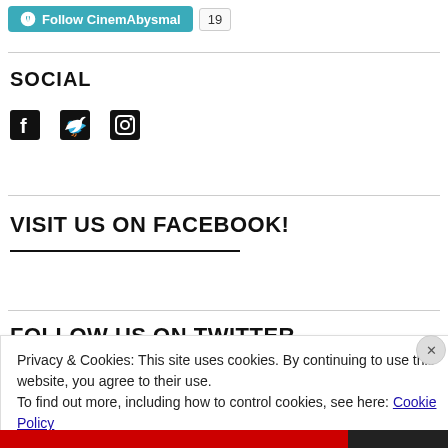[Figure (screenshot): Follow CinemAbysmal button with WordPress logo and follower count of 19]
SOCIAL
[Figure (infographic): Social media icons: Facebook, Twitter, Instagram]
VISIT US ON FACEBOOK!
FOLLOW US ON TWITTER...
Privacy & Cookies: This site uses cookies. By continuing to use this website, you agree to their use.
To find out more, including how to control cookies, see here: Cookie Policy
Close and accept